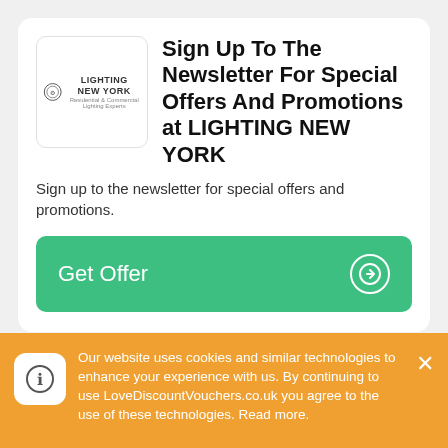[Figure (logo): Lighting New York logo — circular emblem with gear/lamp icon and text LIGHTING NEW YORK, Residential & Commercial Lighting Experts]
Sign Up To The Newsletter For Special Offers And Promotions at LIGHTING NEW YORK
Sign up to the newsletter for special offers and promotions.
Get Offer →
Expired LIGHTING NEW YORK discount codes and offers - give them a try as they may still work...
Our website uses cookies and similar technologies to enhance your experience with us. By continuing to use LoveDiscountVouchers.co.uk you agree to the use of these technologies. Read more.